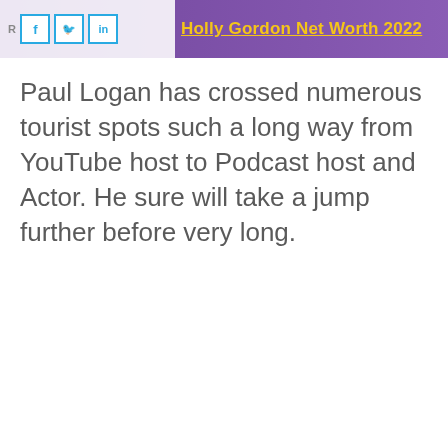Holly Gordon Net Worth 2022
Paul Logan has crossed numerous tourist spots such a long way from YouTube host to Podcast host and Actor. He sure will take a jump further before very long.